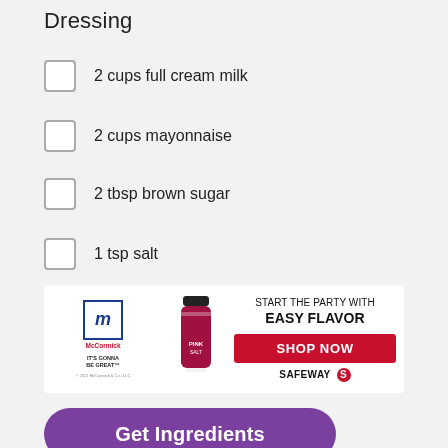Dressing
2 cups full cream milk
2 cups mayonnaise
2 tbsp brown sugar
1 tsp salt
[Figure (photo): McCormick advertisement banner: McCormick logo with 'It's Gonna Be Great' tagline, a spice bottle in center, and text 'START THE PARTY WITH EASY FLAVOR' with a red 'SHOP NOW' button and Safeway logo on the right.]
[Figure (other): Purple rounded rectangle button labeled 'Get Ingredients']